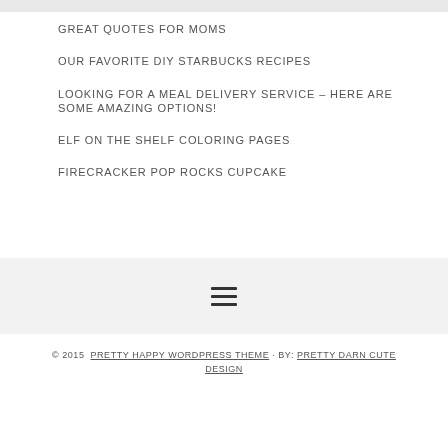GREAT QUOTES FOR MOMS
OUR FAVORITE DIY STARBUCKS RECIPES
LOOKING FOR A MEAL DELIVERY SERVICE – HERE ARE SOME AMAZING OPTIONS!
ELF ON THE SHELF COLORING PAGES
FIRECRACKER POP ROCKS CUPCAKE
[Figure (other): Hamburger menu icon with three horizontal lines]
© 2015  PRETTY HAPPY WORDPRESS THEME · BY: PRETTY DARN CUTE DESIGN